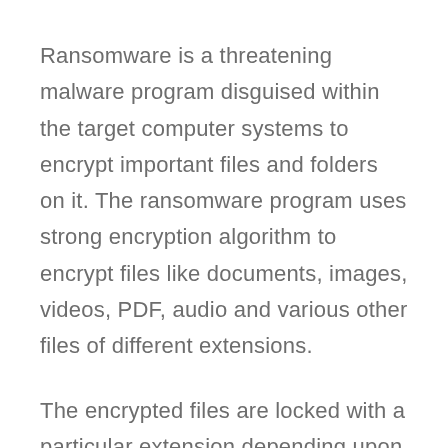Ransomware is a threatening malware program disguised within the target computer systems to encrypt important files and folders on it. The ransomware program uses strong encryption algorithm to encrypt files like documents, images, videos, PDF, audio and various other files of different extensions.
The encrypted files are locked with a particular extension depending upon the Ransomware threat. Thus, the files on the victim's PC is no more accessible by any of